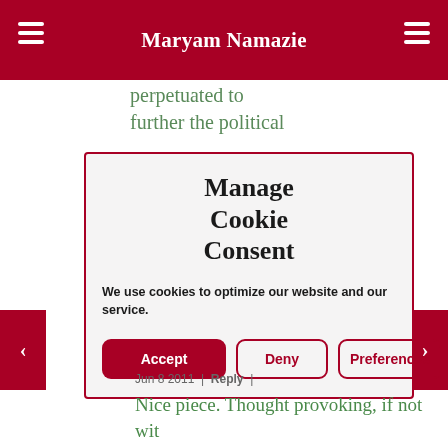Maryam Namazie
perpetuated to further the political
Manage Cookie Consent
We use cookies to optimize our website and our service.
Jun 8 2011 | Reply |
Nice piece. Thought provoking, if not wit grey areas. I am not an atheist; I am more animist -- worship trees, animals, air, riv